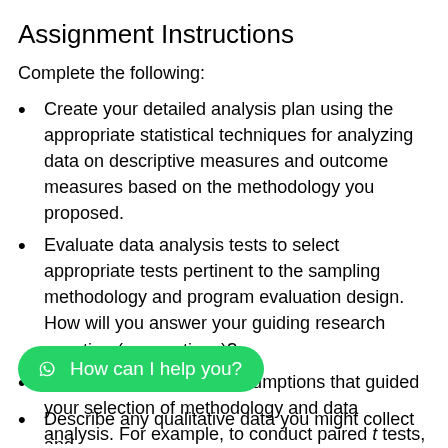Assignment Instructions
Complete the following:
Create your detailed analysis plan using the appropriate statistical techniques for analyzing data on descriptive measures and outcome measures based on the methodology you proposed.
Evaluate data analysis tests to select appropriate tests pertinent to the sampling methodology and program evaluation design. How will you answer your guiding research question (or questions)?
Evaluate the research assumptions that guided your selection of methodology and data analysis. For example, to conduct paired t tests, you must have a minimum of 30 participants in your sample
[Figure (other): WhatsApp chat widget button with text 'How can I help you?']
Describe any qualitative data you might collect and